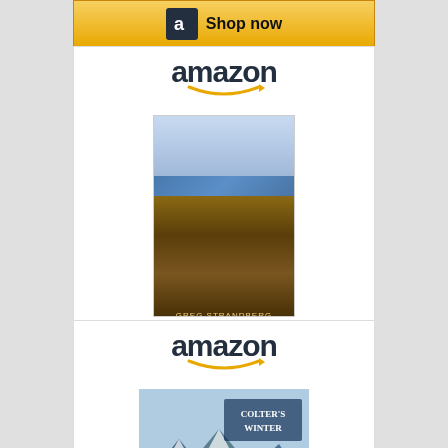[Figure (screenshot): Amazon ad top partial shop-now button bar]
[Figure (screenshot): Amazon product ad card for Manuel's Money (The Mountain...) priced at $3.99 with Shop now button]
[Figure (screenshot): Amazon product ad card for Mountain Man Series, Books (Colter's Winter) with Shop now button partially visible]